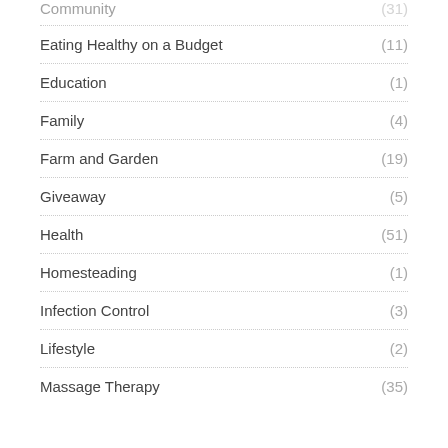Community (31)
Eating Healthy on a Budget (11)
Education (1)
Family (4)
Farm and Garden (19)
Giveaway (5)
Health (51)
Homesteading (1)
Infection Control (3)
Lifestyle (2)
Massage Therapy (35)